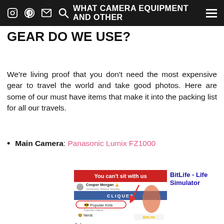WHAT CAMERA EQUIPMENT AND OTHER
GEAR DO WE USE?
We're living proof that you don't need the most expensive gear to travel the world and take good photos. Here are some of our must have items that make it into the packing list for all our travels.
Main Camera: Panasonic Lumix FZ1000
[Figure (screenshot): Advertisement for BitLife - Life Simulator app showing a 'You can't sit with us' Cliques screen with popular kids highlighted]
Ad